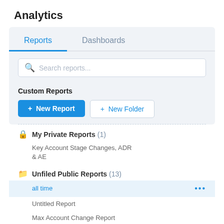Analytics
Reports
Dashboards
Search reports...
Custom Reports
+ New Report
+ New Folder
My Private Reports (1)
Key Account Stage Changes, ADR & AE
Unfiled Public Reports (13)
all time
Untitled Report
Max Account Change Report
Scott
Current Clients - Contacts by Account & Persona
all time